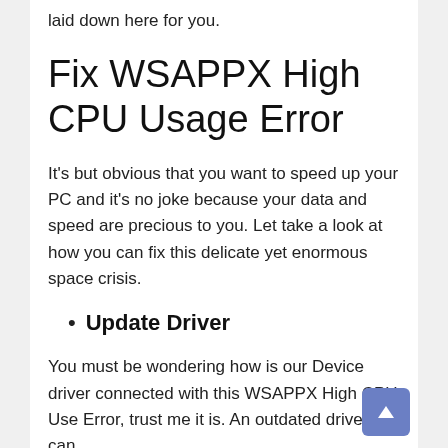PC. To which you can start with the solution we laid down here for you.
Fix WSAPPX High CPU Usage Error
It's but obvious that you want to speed up your PC and it's no joke because your data and speed are precious to you. Let take a look at how you can fix this delicate yet enormous space crisis.
Update Driver
You must be wondering how is our Device driver connected with this WSAPPX High CPU Use Error, trust me it is. An outdated driver can